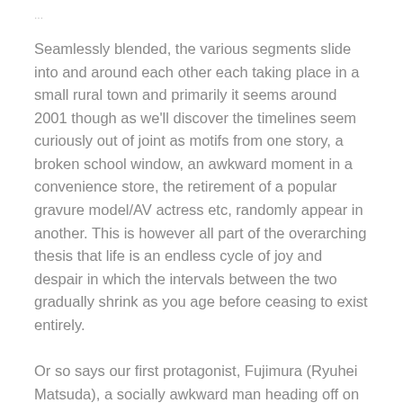...
Seamlessly blended, the various segments slide into and around each other each taking place in a small rural town and primarily it seems around 2001 though as we'll discover the timelines seem curiously out of joint as motifs from one story, a broken school window, an awkward moment in a convenience store, the retirement of a popular gravure model/AV actress etc, randomly appear in another. This is however all part of the overarching thesis that life is an endless cycle of joy and despair in which the intervals between the two gradually shrink as you age before ceasing to exist entirely.
Or so says our first protagonist, Fujimura (Ryuhei Matsuda), a socially awkward man heading off on a random bicycling road trip in which he has no particular destination other than “south” or maybe “west” as he later tells a potential friend he accidentally alienates. Fujimura’s unspoken secret seems to link back to a moment of high school trauma in which he betrayed one